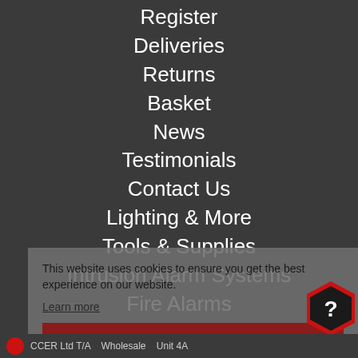Register
Deliveries
Returns
Basket
News
Testimonials
Contact Us
Lighting & More
Tools & Supplies
Intrusion Alarm Systems
Fire Alarms
Access and Door Security
CCTV Systems
This website uses cookies to ensure you get the best experience on our website.
Learn more
Got it!
CONTACT US
CCER Ltd T/A...Unit 4A